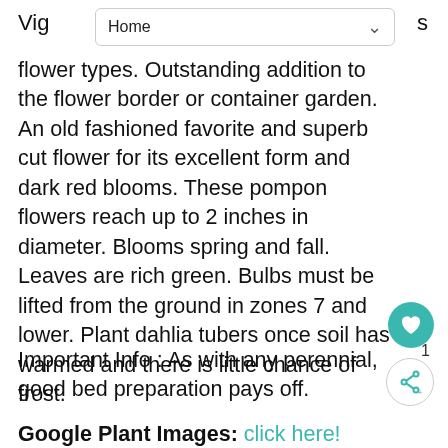Home
Vig... s flower types. Outstanding addition to the flower border or container garden. An old fashioned favorite and superb cut flower for its excellent form and dark red blooms. These pompon flowers reach up to 2 inches in diameter. Blooms spring and fall. Leaves are rich green. Bulbs must be lifted from the ground in zones 7 and lower. Plant dahlia tubers once soil has warmed and there is little chance of frost.
Important Info : As with any perennial, good bed preparation pays off.
Google Plant Images: click here!
Characteristics